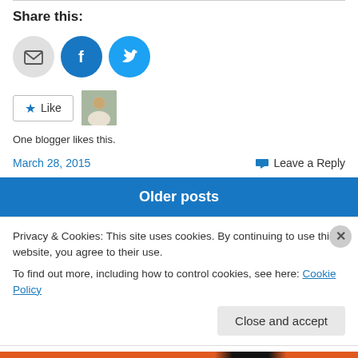Share this:
[Figure (infographic): Three social share icons: email (grey circle), Facebook (blue circle with f logo), Twitter (blue circle with bird logo)]
[Figure (infographic): Like button with star icon and avatar thumbnail. Text: One blogger likes this.]
One blogger likes this.
March 28, 2015
Leave a Reply
Older posts
Privacy & Cookies: This site uses cookies. By continuing to use this website, you agree to their use.
To find out more, including how to control cookies, see here: Cookie Policy
Close and accept